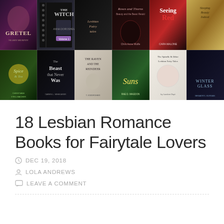[Figure (photo): A collage of 12 book covers arranged in a 6x2 grid. Top row includes: Gretel, The Witch, a dark cover, Roses and Thorns (Beauty and the Beast Retold), Seeing Red, Sleeping Beauty Indeed. Bottom row includes: a dark fairy-tale cover, The Beast Was Never, The Raven and the Reindeer, Suns (a plant cover), The Spindle & Other Lesbian Fairy Tales, Winterglass.]
18 Lesbian Romance Books for Fairytale Lovers
DEC 19, 2018
LOLA ANDREWS
LEAVE A COMMENT